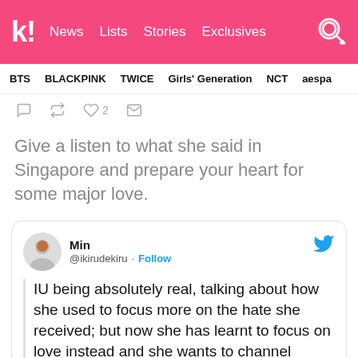k! News Lists Stories Exclusives
BTS BLACKPINK TWICE Girls' Generation NCT aespa
[Figure (screenshot): Twitter action icons: reply, retweet, like (2), mail]
Give a listen to what she said in Singapore and prepare your heart for some major love.
[Figure (screenshot): Tweet by Min @ikirudekiru with Follow button and Twitter bird icon. Tweet text: IU being absolutely real, talking about how she used to focus more on the hate she received; but now she has learnt to focus on love instead and she wants to channel]